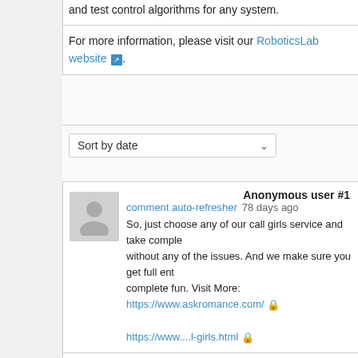and test control algorithms for any system.
For more information, please visit our RoboticsLab website.
Sort by date
Anonymous user #1
comment auto-refresher 78 days ago
So, just choose any of our call girls service and take comple without any of the issues. And we make sure you get full ent complete fun. Visit More: https://www.askromance.com/
https://www....l-girls.html
Anonymous user #2
70 days ago
Justru taruhan tersebut memberikan peluang menang besa penjudi. Bukan hanya satu keuntungan saja, malainkan ada